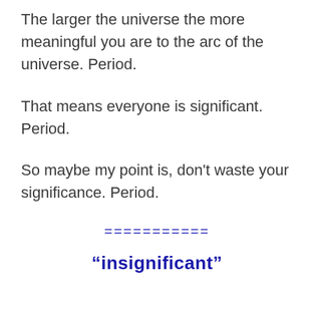The larger the universe the more meaningful you are to the arc of the universe. Period.
That means everyone is significant. Period.
So maybe my point is, don't waste your significance. Period.
===========
“insignificant”